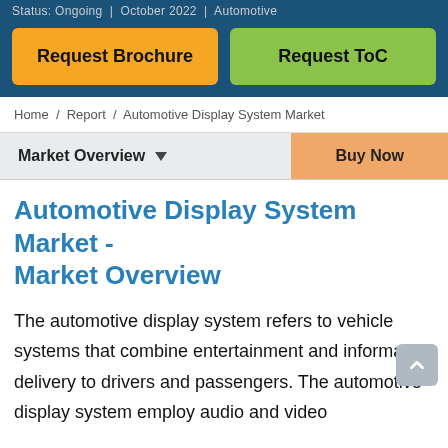Status: Ongoing  |  October 2022  |  Automotive
Request Brochure
Request ToC
Home / Report / Automotive Display System Market
Market Overview ▼
Buy Now
Automotive Display System Market - Market Overview
The automotive display system refers to vehicle systems that combine entertainment and information delivery to drivers and passengers. The automotive display system employ audio and video